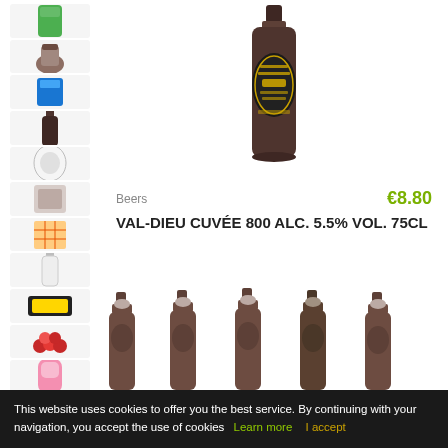[Figure (photo): Sidebar with thumbnail product images: a green cup, a jar, a blue container, a dark beer bottle, a round item, a wrapped item, a waffle/grid item, a white bottle, a dark package, red items, and a pink item]
[Figure (photo): Main product photo: a tall dark 75cl beer bottle of Val-Dieu Cuvée 800 with a circular label]
Beers
€8.80
VAL-DIEU CUVÉE 800 ALC. 5.5% VOL. 75CL
[Figure (photo): Row of five small beer bottles with cork stoppers and wire cages, partially visible at bottom of page]
This website uses cookies to offer you the best service. By continuing with your navigation, you accept the use of cookies  Learn more  I accept